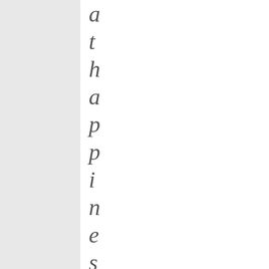[Figure (other): Gray left panel background]
a t h a p p i n e s s f o